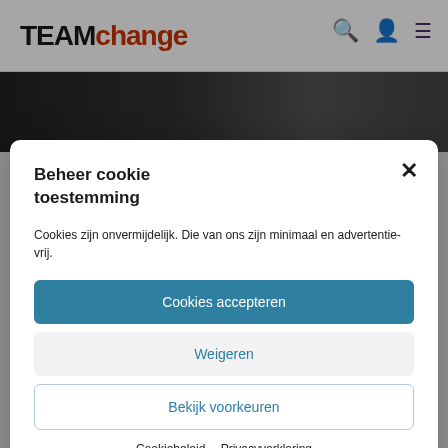TEAMchange
[Figure (photo): Dark background image with colorful soap bubbles, partially visible behind cookie consent modal]
Beheer cookie toestemming
Cookies zijn onvermijdelijk. Die van ons zijn minimaal en advertentie-vrij.
Cookies accepteren
Weigeren
Bekijk voorkeuren
Cookiebeleid   Privacyverklaring